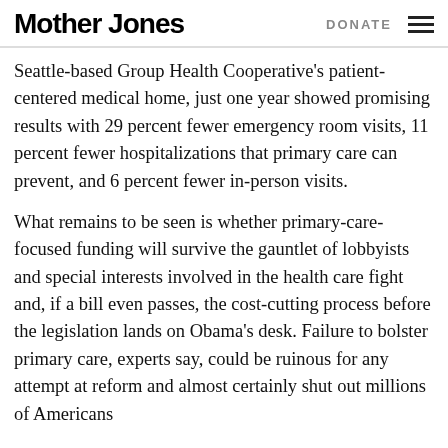Mother Jones | DONATE
Seattle-based Group Health Cooperative's patient-centered medical home, just one year showed promising results with 29 percent fewer emergency room visits, 11 percent fewer hospitalizations that primary care can prevent, and 6 percent fewer in-person visits.
What remains to be seen is whether primary-care-focused funding will survive the gauntlet of lobbyists and special interests involved in the health care fight and, if a bill even passes, the cost-cutting process before the legislation lands on Obama's desk. Failure to bolster primary care, experts say, could be ruinous for any attempt at reform and almost certainly shut out millions of Americans